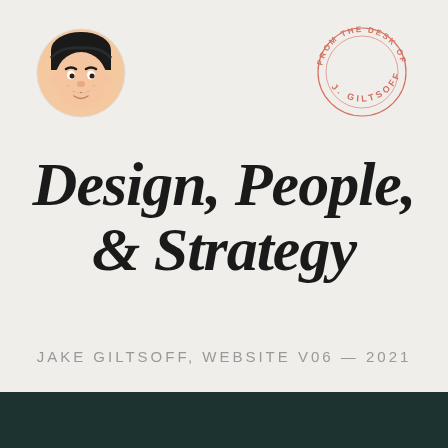[Figure (illustration): Animated emoji-style avatar of a young man with dark hair and a mustache, circular crop]
[Figure (other): Circular stamp/badge reading FROM THE DESK OF J. GILTSOFF in a ring, salmon/pink color]
Design, People, & Strategy
JAKE GILTSOFF, WEBSITE V06 — 2021